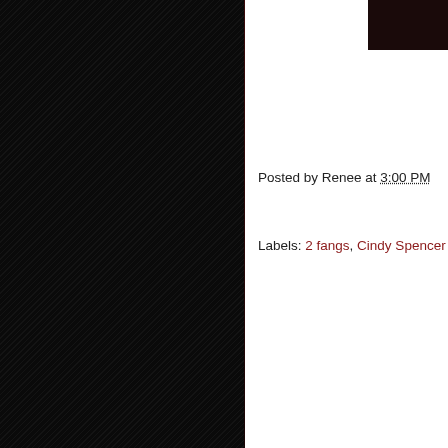[Figure (photo): Dark image block in top right corner, mostly black with a faint figure]
Posted by Renee at 3:00 PM
Labels: 2 fangs, Cindy Spencer